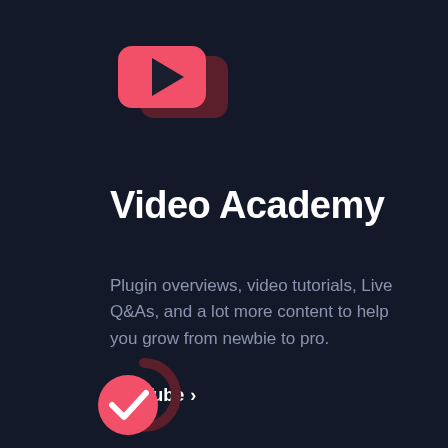[Figure (logo): YouTube-style play button icon: red rounded rectangle with dark play triangle, overlapping a dark red/maroon shadow rounded rectangle behind it]
Video Academy
Plugin overviews, video tutorials, Live Q&As, and a lot more content to help you grow from newbie to pro.
YouTube >
[Figure (logo): Pink/red circular checkmark icon with a dark maroon circular arrow refresh indicator partially behind it, bottom-left corner]